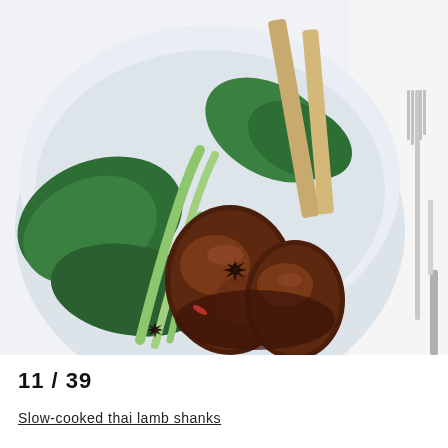[Figure (photo): A food photograph showing slow-cooked Thai lamb shanks in a white bowl. The lamb shanks are glazed with a dark rich sauce and garnished with star anise. They are served alongside cooked Asian greens (bok choy). A fork and knife are visible on the right side of the frame. The background is white and light grey.]
11 / 39
Slow-cooked thai lamb shanks